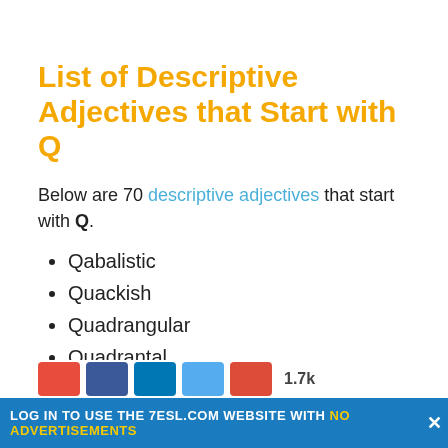List of Descriptive Adjectives that Start with Q
Below are 70 descriptive adjectives that start with Q.
Qabalistic
Quackish
Quadrangular
Quadrantal
Quadraphonic
LOG IN TO USE THE 7ESL.COM WEBSITE WITH NO ADVERTISEMENTS